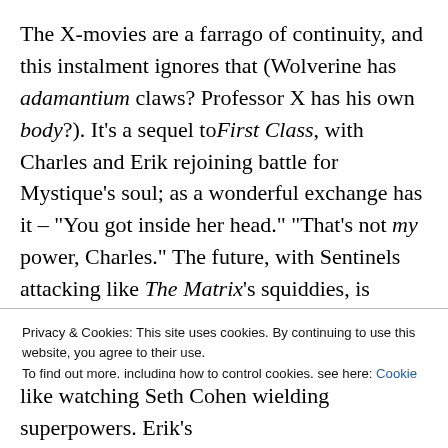The X-movies are a farrago of continuity, and this instalment ignores that (Wolverine has adamantium claws? Professor X has his own body?). It's a sequel to First Class, with Charles and Erik rejoining battle for Mystique's soul; as a wonderful exchange has it – "You got inside her head." "That's not my power, Charles." The future, with Sentinels attacking like The Matrix's squiddies, is mostly a glorified framing device; but its startling killing of characters in the prologue establishes the stakes. The past is a foreign country; where Singer
Privacy & Cookies: This site uses cookies. By continuing to use this website, you agree to their use. To find out more, including how to control cookies, see here: Cookie Policy
like watching Seth Cohen wielding superpowers. Erik's